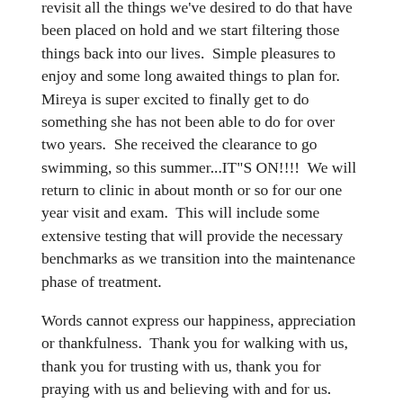revisit all the things we've desired to do that have been placed on hold and we start filtering those things back into our lives.  Simple pleasures to enjoy and some long awaited things to plan for.  Mireya is super excited to finally get to do something she has not been able to do for over two years.  She received the clearance to go swimming, so this summer...IT"S ON!!!!  We will return to clinic in about month or so for our one year visit and exam.  This will include some extensive testing that will provide the necessary benchmarks as we transition into the maintenance phase of treatment.
Words cannot express our happiness, appreciation or thankfulness.  Thank you for walking with us, thank you for trusting with us, thank you for praying with us and believing with and for us.
Matthew 10:27 What I tell you now in the darkness, shout abroad when daybreak comes. What I whisper in your ear, shout from the housetops for all to hear.